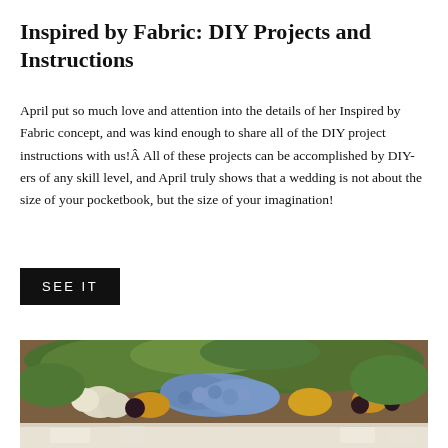Inspired by Fabric: DIY Projects and Instructions
April put so much love and attention into the details of her Inspired by Fabric concept, and was kind enough to share all of the DIY project instructions with us!Â All of these projects can be accomplished by DIY-ers of any skill level, and April truly shows that a wedding is not about the size of your pocketbook, but the size of your imagination!
SEE IT
[Figure (photo): A floral wedding centerpiece arrangement featuring blue hydrangeas, white tulips, green succulents, and amber/gold flowers, with a lighter table setting visible in the lower portion.]